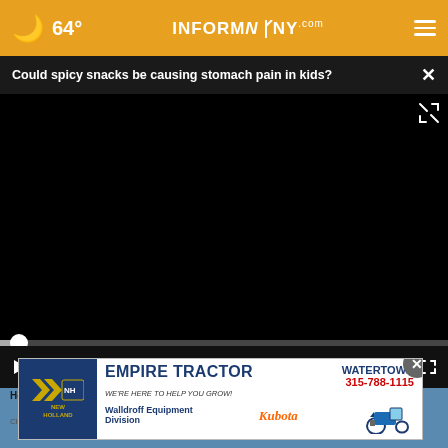🌙 64° INFORMNNY.com
Could spicy snacks be causing stomach pain in kids?
[Figure (screenshot): Embedded video player showing a black screen with playback controls (play button, mute, timestamp 00:00, captions, fullscreen). Progress bar at bottom. Website screenshot from INFORMNNY.com.]
Here's How Much Ashburn Maids Charge to Clean a Home
Cleaning Services
[Figure (photo): Advertisement banner: EMPIRE TRACTOR, WATERTOWN, WE'RE HERE TO HELP YOU GROW!, 315-788-1115, Walldroff Equipment Division, Kubota, New Holland logo, tractor image]